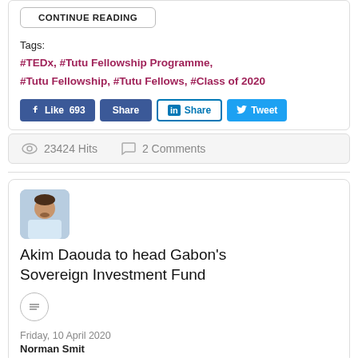CONTINUE READING
Tags:
#TEDx, #Tutu Fellowship Programme, #Tutu Fellowship, #Tutu Fellows, #Class of 2020
Like 693  Share  Share  Tweet
23424 Hits  2 Comments
[Figure (photo): Author avatar photo of Akim Daouda]
Akim Daouda to head Gabon's Sovereign Investment Fund
Friday, 10 April 2020
Norman Smit